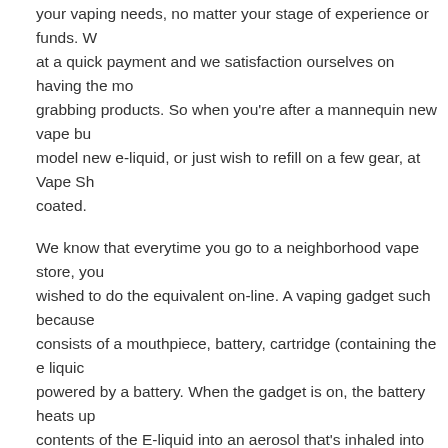your vaping needs, no matter your stage of experience or funds. We aim at a quick payment and we satisfaction ourselves on having the most eye-grabbing products. So when you're after a mannequin new vape bu... model new e-liquid, or just wish to refill on a few gear, at Vape Sh... coated.
We know that everytime you go to a neighborhood vape store, you wished to do the equivalent on-line. A vaping gadget such because consists of a mouthpiece, battery, cartridge (containing the e liquid powered by a battery. When the gadget is on, the battery heats up contents of the E-liquid into an aerosol that's inhaled into the lung focus has frequently been about delivering actual top of the range started proving that with our vape retailer free delivery service in
Best Choice Cbd Oil 2 8% 10ml
We know that should you go to a neighborhood vape retailer, you would have liked to do the same online. Clouder is UK's first vape guaranteeing that you simply simply gained't uncover higher prices else. Different vapes mods have totally totally completely differen longer-lasting batteries, bigger tank volumes and stronger heating